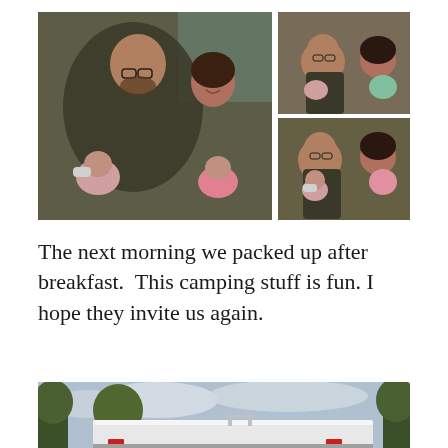[Figure (photo): Photo collage of a man in camouflage jacket and a woman, with a baby, inside an RV. Left: large photo of man feeding baby with bottle, woman in background smiling. Top right: man and woman holding baby. Bottom right: man and woman with baby.]
The next morning we packed up after breakfast.  This camping stuff is fun. I hope they invite us again.
[Figure (photo): Partial photo of an RV exterior with trees and cloudy sky in background.]